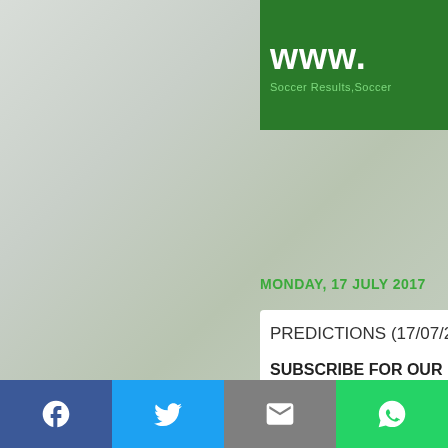[Figure (photo): Foggy green field/forest background image on the left portion of the page]
www. Soccer Results,Soccer
MONDAY, 17 JULY 2017
PREDICTIONS (17/07/201
SUBSCRIBE FOR OUR P wizpredict@gmail.com,